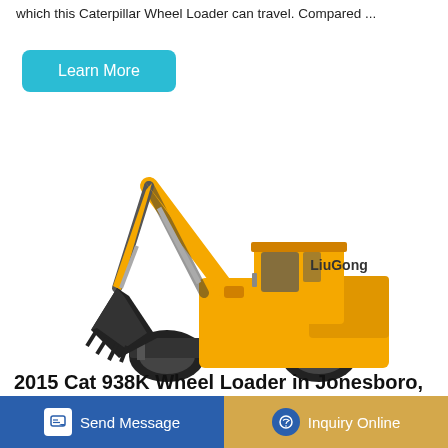which this Caterpillar Wheel Loader can travel. Compared ...
[Figure (other): Learn More button — teal/cyan rounded rectangle with white text]
[Figure (photo): LiuGong wheeled excavator, yellow, with boom arm and bucket, on white background]
2015 Cat 938K Wheel Loader in Jonesboro,
[Figure (other): Bottom action bar with 'Send Message' blue button on left and 'Inquiry Online' tan/gold button on right]